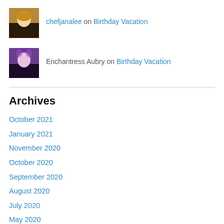chefjanalee on Birthday Vacation
Enchantress Aubry on Birthday Vacation
Archives
October 2021
January 2021
November 2020
October 2020
September 2020
August 2020
July 2020
May 2020
April 2020
February 2020
January 2020